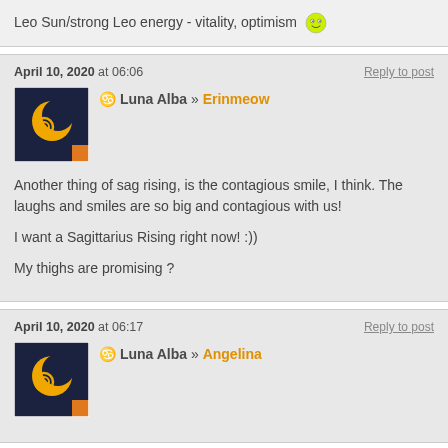Leo Sun/strong Leo energy - vitality, optimism 😎
April 10, 2020 at 06:06
Reply to post
♑ Luna Alba » Erinmeow
[Figure (logo): User avatar with crescent moon and spiral symbol on dark blue background with orange corner]
Another thing of sag rising, is the contagious smile, I think. The laughs and smiles are so big and contagious with us!

I want a Sagittarius Rising right now! :))

My thighs are promising ?
April 10, 2020 at 06:17
Reply to post
♑ Luna Alba » Angelina
[Figure (logo): User avatar with crescent moon and spiral symbol on dark blue background with orange corner]